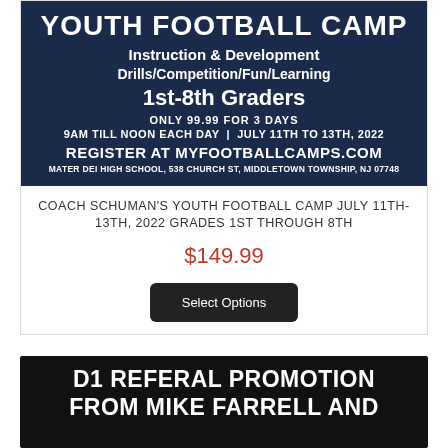[Figure (infographic): Youth football camp promotional banner with dark blue background and white bold text showing camp details]
COACH SCHUMAN'S YOUTH FOOTBALL CAMP JULY 11TH-13TH, 2022 GRADES 1ST THROUGH 8TH
$149.99
Select Options
[Figure (infographic): D1 Referal Promotion from Mike Farrell and - dark background with large white bold text]